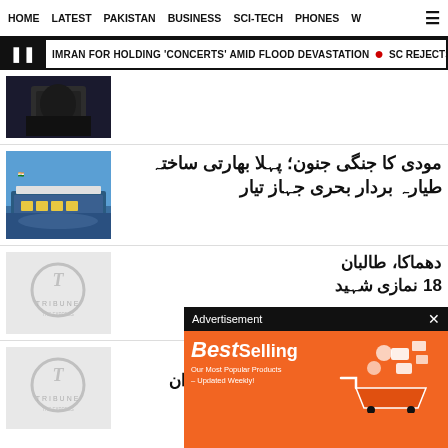HOME  LATEST  PAKISTAN  BUSINESS  SCI-TECH  PHONES  W  ☰
IMRAN FOR HOLDING 'CONCERTS' AMID FLOOD DEVASTATION  •  SC REJECTS POST
[Figure (photo): Dark image, appears to show a person in dark clothing]
مودی کا جنگی جنون؛ پہلا بھارتی ساختہ طیارہ بردار بحری جہاز تیار
[Figure (photo): Aircraft carrier ship with Indian flag, crowd visible]
دھماکا، طالبان 18 نمازی شہید
[Figure (logo): The Express Tribune logo placeholder]
مقبوضہ مغربی کنارے میں اسرائیلی فورسز کی فائرنگ، 2 فلسطینی نوجوان شہید
[Figure (logo): The Express Tribune logo placeholder]
[Figure (other): Advertisement: BestSelling - Our Most Popular Products Updated Weekly - AliExpress Shop Now]